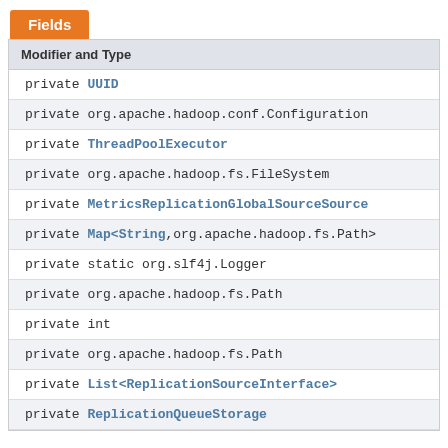Fields
| Modifier and Type |
| --- |
| private UUID |
| private org.apache.hadoop.conf.Configuration |
| private ThreadPoolExecutor |
| private org.apache.hadoop.fs.FileSystem |
| private MetricsReplicationGlobalSourceSource |
| private Map<String,org.apache.hadoop.fs.Path> |
| private static org.slf4j.Logger |
| private org.apache.hadoop.fs.Path |
| private int |
| private org.apache.hadoop.fs.Path |
| private List<ReplicationSourceInterface> |
| private ReplicationQueueStorage |